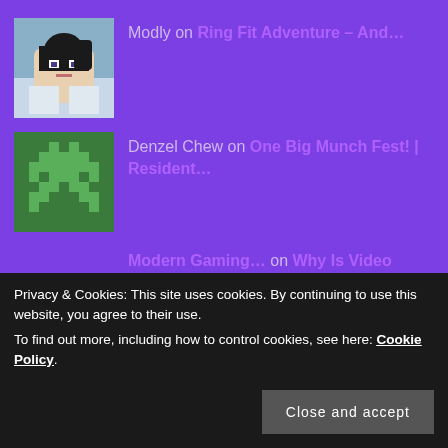Modly on Ring Fit Adventure – And…
Denzel Chew on One Big Munch Fest! | Resident…
Modern Gaming… on Why Is Video Gaming So Complic…
Vicky on Yume Nikki: Dream Diary soon t…
nmaniaci on Top Things I Miss About Retro…
Privacy & Cookies: This site uses cookies. By continuing to use this website, you agree to their use.
To find out more, including how to control cookies, see here: Cookie Policy.